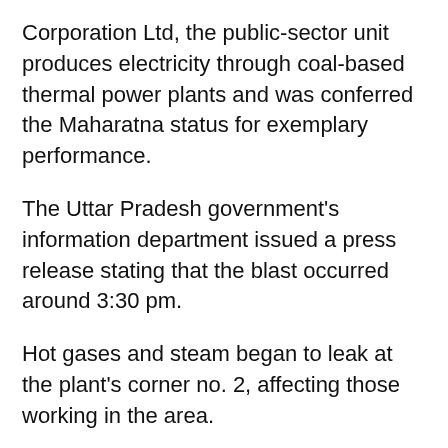Corporation Ltd, the public-sector unit produces electricity through coal-based thermal power plants and was conferred the Maharatna status for exemplary performance.
The Uttar Pradesh government's information department issued a press release stating that the blast occurred around 3:30 pm.
Hot gases and steam began to leak at the plant's corner no. 2, affecting those working in the area.
Around 80 people were rushed to the NTPC hospital and most were discharged after receiving first-aid treatment.